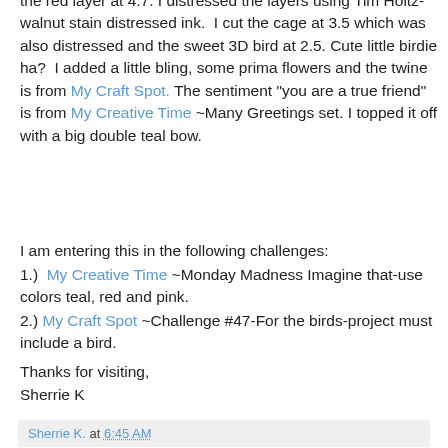the red layer at 4.7. I distressed the layers using Tim Holtz-walnut stain distressed ink.  I cut the cage at 3.5 which was also distressed and the sweet 3D bird at 2.5. Cute little birdie ha?  I added a little bling, some prima flowers and the twine is from My Craft Spot. The sentiment "you are a true friend" is from My Creative Time ~Many Greetings set. I topped it off with a big double teal bow.
I am entering this in the following challenges:
1.)  My Creative Time ~Monday Madness Imagine that-use colors teal, red and pink.
2.) My Craft Spot ~Challenge #47-For the birds-project must include a bird.
Thanks for visiting,
Sherrie K
Sherrie K. at 6:45 AM
45 comments: